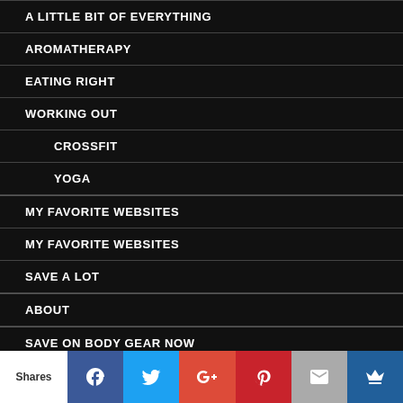A LITTLE BIT OF EVERYTHING
AROMATHERAPY
EATING RIGHT
WORKING OUT
CROSSFIT
YOGA
MY FAVORITE WEBSITES
MY FAVORITE WEBSITES
SAVE A LOT
ABOUT
SAVE ON BODY GEAR NOW
[Figure (infographic): Social sharing bar with Shares label, Facebook, Twitter, Google+, Pinterest, Email, and crown icon buttons]